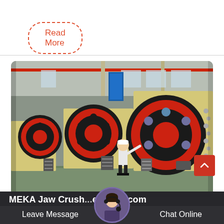Read More
[Figure (photo): Large industrial jaw crushers in a factory/warehouse setting. Three massive yellow jaw crusher machines with prominent red and black flywheels are lined up. A person in a white shirt and hard hat stands in front for scale, demonstrating the enormous size of the equipment. The facility has a steel-frame structure with skylights.]
MEKA Jaw Crush... erk eng.com
Leave Message
Chat Online